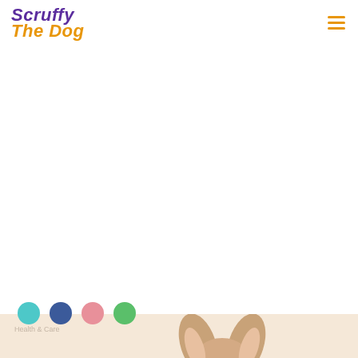Scruffy The Dog — navigation header with logo and hamburger menu
[Figure (screenshot): Website screenshot of 'Scruffy The Dog' pet blog/website. White background with logo top-left (purple italic 'Scruffy' and orange italic 'The Dog' text), hamburger menu icon top-right in orange. Large white content area. Bottom portion shows a peeking dog (chihuahua ears visible) over a warm beige/tan banner, with four social media circular icon dots (teal, navy, pink, green) above the banner.]